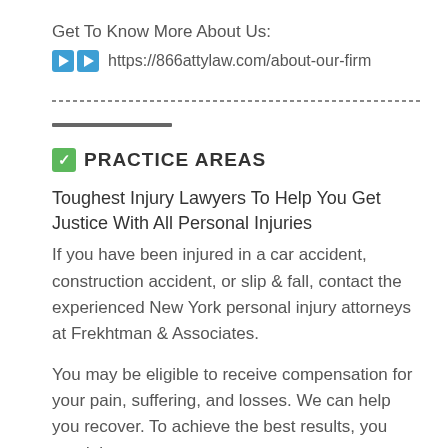Get To Know More About Us:
▶▶ https://866attylaw.com/about-our-firm
✅ PRACTICE AREAS
Toughest Injury Lawyers To Help You Get Justice With All Personal Injuries
If you have been injured in a car accident, construction accident, or slip & fall, contact the experienced New York personal injury attorneys at Frekhtman & Associates.
You may be eligible to receive compensation for your pain, suffering, and losses. We can help you recover. To achieve the best results, you need the